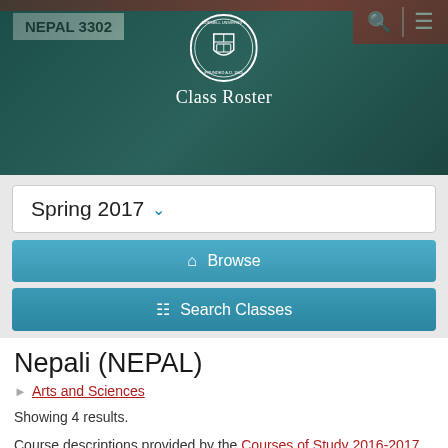NEPAL 3302
[Figure (logo): Cornell University seal/logo with text 'Class Roster' below it on a dark teal banner background]
Class Roster
Spring 2017
Browse
Search Classes
Nepali (NEPAL)
Arts and Sciences
Showing 4 results.
Course descriptions provided by the Courses of Study 2016-2017.
NEPAL 1102